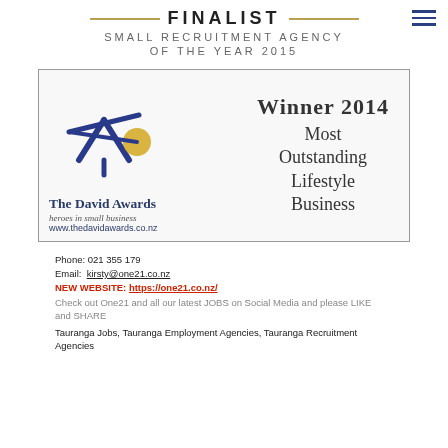FINALIST — SMALL RECRUITMENT AGENCY OF THE YEAR 2015
[Figure (logo): The David Awards award certificate image showing 'Winner 2014 Most Outstanding Lifestyle Business' with a blue and gold logo/icon on the left and award text on the right. Bottom left shows 'The David Awards heroes in small business www.thedavidawards.co.nz']
Phone: 021 355 179
Email: kirsty@one21.co.nz
NEW WEBSITE: https://one21.co.nz/
Check out One21 and all our latest JOBS on Social Media and please LIKE and SHARE
Tauranga Jobs, Tauranga Employment Agencies, Tauranga Recruitment Agencies